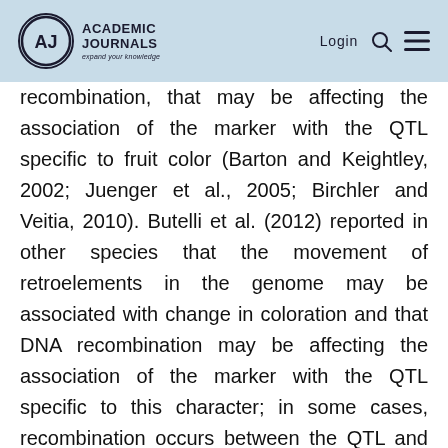Academic Journals — Login
recombination, that may be affecting the association of the marker with the QTL specific to fruit color (Barton and Keightley, 2002; Juenger et al., 2005; Birchler and Veitia, 2010). Butelli et al. (2012) reported in other species that the movement of retroelements in the genome may be associated with change in coloration and that DNA recombination may be affecting the association of the marker with the QTL specific to this character; in some cases, recombination occurs between the QTL and the marker, theoretically, even if the distance between them is small (<5 cM). One